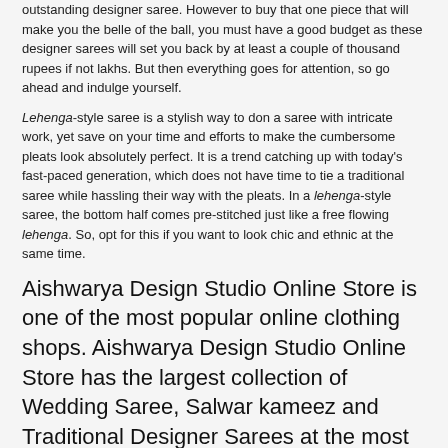outstanding designer saree. However to buy that one piece that will make you the belle of the ball, you must have a good budget as these designer sarees will set you back by at least a couple of thousand rupees if not lakhs. But then everything goes for attention, so go ahead and indulge yourself.
Lehenga-style saree is a stylish way to don a saree with intricate work, yet save on your time and efforts to make the cumbersome pleats look absolutely perfect. It is a trend catching up with today's fast-paced generation, which does not have time to tie a traditional saree while hassling their way with the pleats. In a lehenga-style saree, the bottom half comes pre-stitched just like a free flowing lehenga. So, opt for this if you want to look chic and ethnic at the same time.
Aishwarya Design Studio Online Store is one of the most popular online clothing shops. Aishwarya Design Studio Online Store has the largest collection of Wedding Saree, Salwar kameez and Traditional Designer Sarees at the most reasonable price which can be purchased online and We deliver sarees, salwar kameez and wedding wears to USA, UK, Australia, Canada and Worldwide.
Tags: Designer Wedding Saree, indian sarees, Sarees India, Sarees, Saree, Sari, Saris
Comments (0)
The Indian Sarees – Indian Fashioning -Wednesday, February 24, 2016